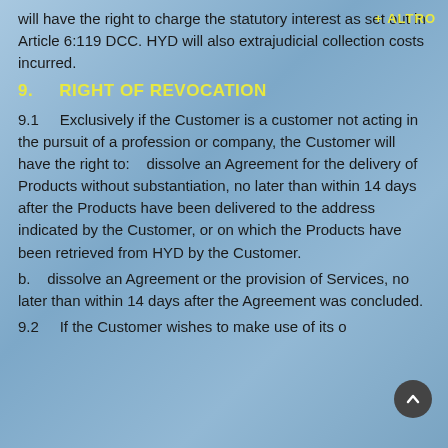will have the right to charge the statutory interest as set out in Article 6:119 DCC. HYD will also extrajudicial collection costs incurred.
9.    RIGHT OF REVOCATION
9.1    Exclusively if the Customer is a customer not acting in the pursuit of a profession or company, the Customer will have the right to:    dissolve an Agreement for the delivery of Products without substantiation, no later than within 14 days after the Products have been delivered to the address indicated by the Customer, or on which the Products have been retrieved from HYD by the Customer.
b.    dissolve an Agreement or the provision of Services, no later than within 14 days after the Agreement was concluded.
9.2    If the Customer wishes to make use of its o